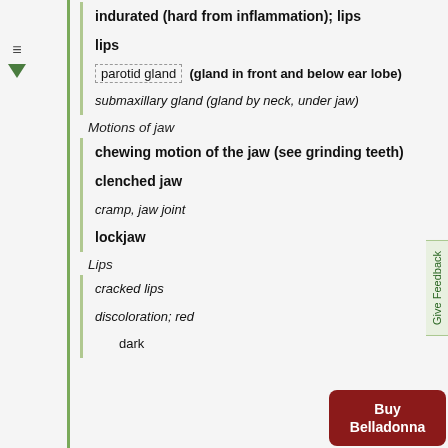indurated (hard from inflammation); lips
lips
parotid gland (gland in front and below ear lobe)
submaxillary gland (gland by neck, under jaw)
Motions of jaw
chewing motion of the jaw (see grinding teeth)
clenched jaw
cramp, jaw joint
lockjaw
Lips
cracked lips
discoloration; red
dark